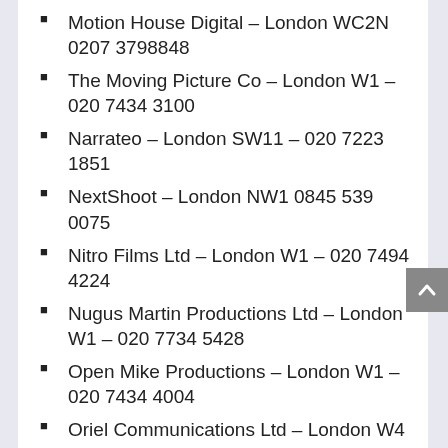Motion House Digital – London WC2N 0207 3798848
The Moving Picture Co – London W1 – 020 7434 3100
Narrateo – London SW11 – 020 7223 1851
NextShoot – London NW1 0845 539 0075
Nitro Films Ltd – London W1 – 020 7494 4224
Nugus Martin Productions Ltd – London W1 – 020 7734 5428
Open Mike Productions – London W1 – 020 7434 4004
Oriel Communications Ltd – London W4 – 020 8995 3445
Outlaw films Ltd – London W1 – 020 7580 3039
Outsider Ltd – London W1 – 020 7636 6666
Paul Knight Productions – London W1 – 020